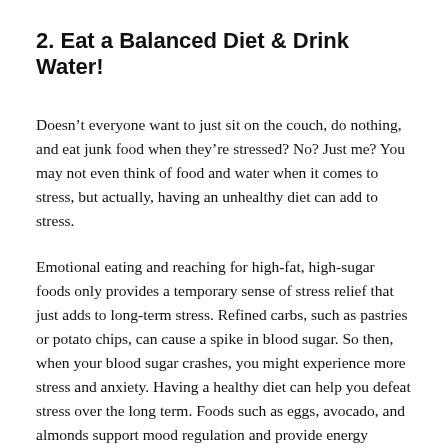2. Eat a Balanced Diet & Drink Water!
Doesn't everyone want to just sit on the couch, do nothing, and eat junk food when they're stressed? No? Just me? You may not even think of food and water when it comes to stress, but actually, having an unhealthy diet can add to stress.
Emotional eating and reaching for high-fat, high-sugar foods only provides a temporary sense of stress relief that just adds to long-term stress. Refined carbs, such as pastries or potato chips, can cause a spike in blood sugar. So then, when your blood sugar crashes, you might experience more stress and anxiety. Having a healthy diet can help you defeat stress over the long term. Foods such as eggs, avocado, and almonds support mood regulation and provide energy balance! Not to mention